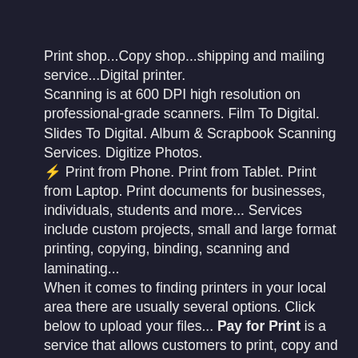Print shop...Copy shop...shipping and mailing service...Digital printer.
Scanning is at 600 DPI high resolution on professional-grade scanners. Film To Digital. Slides To Digital. Album & Scrapbook Scanning Services. Digitize Photos.
⚡ Print from Phone. Print from Tablet. Print from Laptop. Print documents for businesses, individuals, students and more... Services include custom projects, small and large format printing, copying, binding, scanning and laminating...
When it comes to finding printers in your local area there are usually several options. Click below to upload your files... Pay for Print is a service that allows customers to print, copy and scan documents efficiently. Show locations on Google Maps.
Where can I use a printer near me ? Show me all